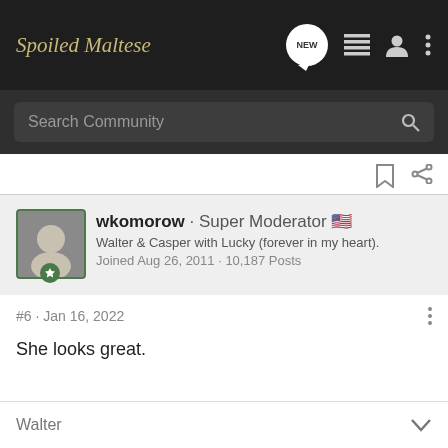Spoiled Maltese
Search Community
wkomorow · Super Moderator 🇺🇸
Walter & Casper with Lucky (forever in my heart).
Joined Aug 26, 2011 · 10,187 Posts
#6 · Jan 16, 2022
She looks great.
Walter